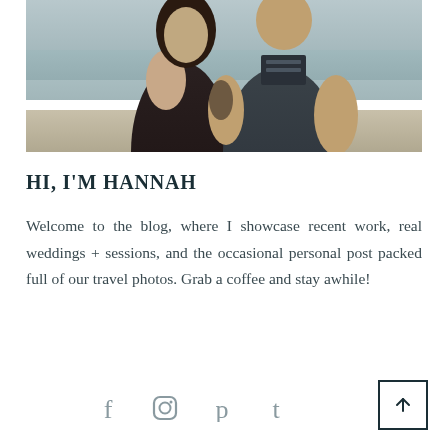[Figure (photo): A couple standing together outdoors near water/beach. A woman in a black outfit leans against a man in a dark gray t-shirt. Beach or lake in background.]
HI, I'M HANNAH
Welcome to the blog, where I showcase recent work, real weddings + sessions, and the occasional personal post packed full of our travel photos. Grab a coffee and stay awhile!
[Figure (illustration): Social media icons: Facebook (f), Instagram (circle), Pinterest (p), Tumblr (t)]